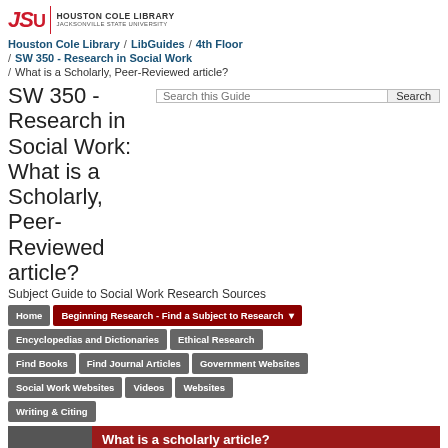[Figure (logo): JSU Houston Cole Library logo with red JSU letters and library name]
Houston Cole Library / LibGuides / 4th Floor
/ SW 350 - Research in Social Work
/ What is a Scholarly, Peer-Reviewed article?
SW 350 - Research in Social Work: What is a Scholarly, Peer-Reviewed article?
Subject Guide to Social Work Research Sources
Home | Beginning Research - Find a Subject to Research | Encyclopedias and Dictionaries | Ethical Research | Find Books | Find Journal Articles | Government Websites | Social Work Websites | Videos | Websites | Writing & Citing
What is a scholarly article?
characteristics are found in most scholarly journal research